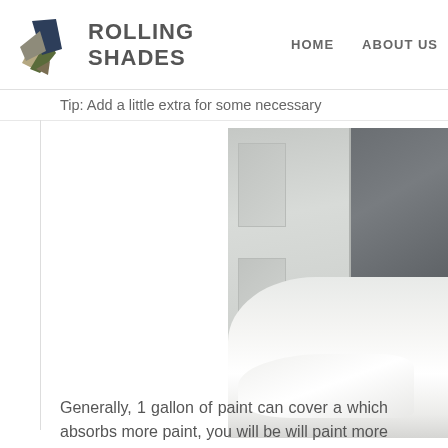ROLLING SHADES | HOME | ABOUT US
Tip: Add a little extra for some necessary
[Figure (photo): Photo of white fabric/drop cloth draped on a surface near a white paneled door, with a dark background on the right side]
Generally, 1 gallon of paint can cover a which absorbs more paint, you will be will paint more than 1 coat. Dark c